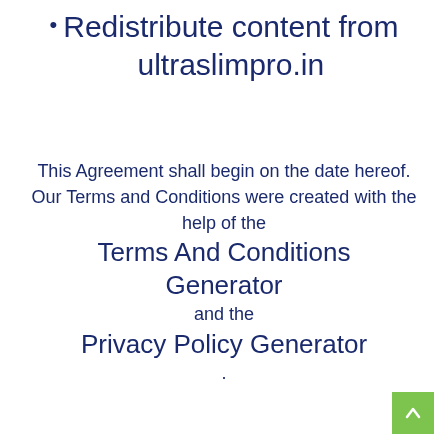Redistribute content from ultraslimpro.in
This Agreement shall begin on the date hereof. Our Terms and Conditions were created with the help of the Terms And Conditions Generator and the Privacy Policy Generator .